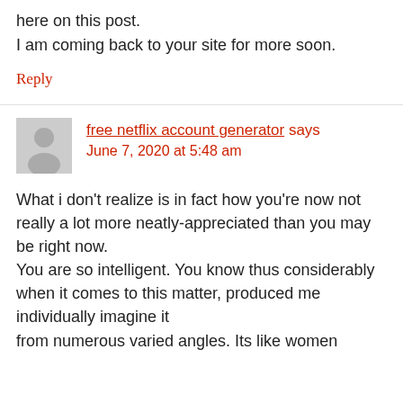here on this post.
I am coming back to your site for more soon.
Reply
free netflix account generator says
June 7, 2020 at 5:48 am
What i don't realize is in fact how you're now not really a lot more neatly-appreciated than you may be right now.
You are so intelligent. You know thus considerably when it comes to this matter, produced me individually imagine it from numerous varied angles. Its like women